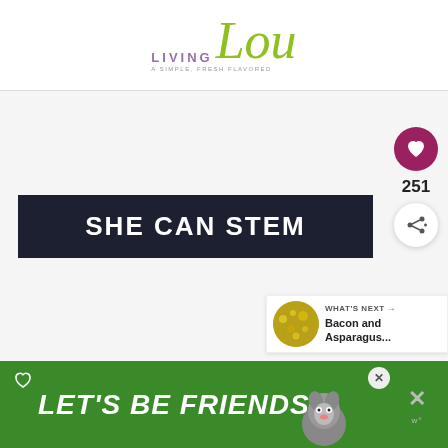[Figure (logo): Living Lou blog logo — 'LIVING' in purple uppercase and 'Lou' in large olive/lime green italic script, with tagline beneath]
[Figure (illustration): Dark navy banner with bold white uppercase text 'SHE CAN STEM' on a light gray background]
251
[Figure (infographic): WHAT'S NEXT panel with thumbnail and text 'Bacon and Asparagus...']
[Figure (illustration): Green advertisement banner reading 'LET'S BE FRIENDS' with a husky dog image]